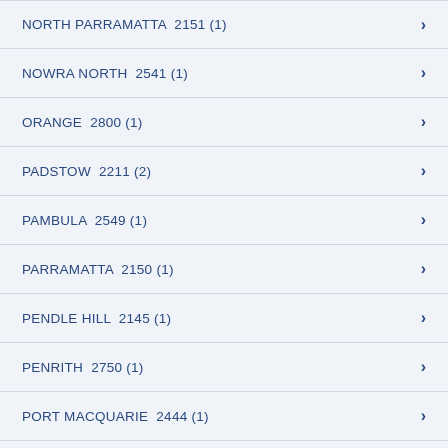NORTH PARRAMATTA  2151 (1)
NOWRA NORTH  2541 (1)
ORANGE  2800 (1)
PADSTOW  2211 (2)
PAMBULA  2549 (1)
PARRAMATTA  2150 (1)
PENDLE HILL  2145 (1)
PENRITH  2750 (1)
PORT MACQUARIE  2444 (1)